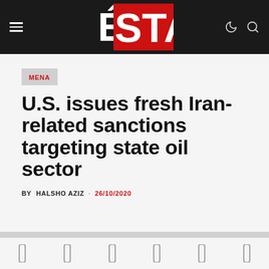ÉSTA — navigation header with hamburger menu, logo, dark mode and search icons
MENA
U.S. issues fresh Iran-related sanctions targeting state oil sector
BY HALSHO AZIZ · 26/10/2020